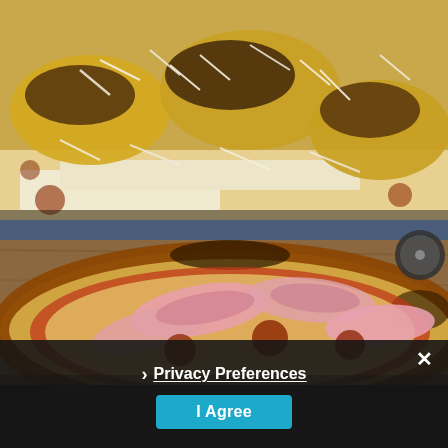[Figure (photo): Close-up photo of baked pasta shells filled with meat sauce and topped with grated parmesan cheese on a white background]
[Figure (photo): Photo of a pizza with prosciutto/ham toppings on a wooden board with a pizza cutter visible in the background]
Privacy Preferences
I Agree